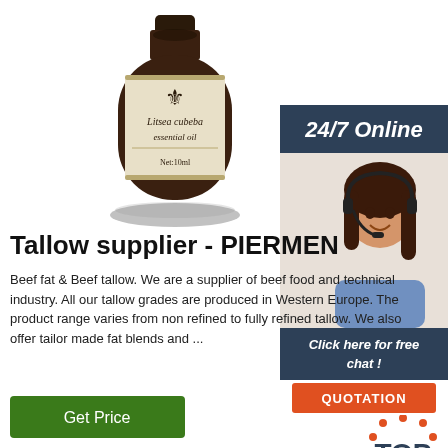[Figure (photo): A dark amber glass bottle of Litsea cubeba essential oil with a cream-colored label featuring a fleur-de-lis emblem. Label reads 'Litsea cubeba essential oil' and 'Net:10ml'.]
[Figure (photo): Customer service representative - woman with headset smiling, with '24/7 Online' banner, 'Click here for free chat!' button, and orange 'QUOTATION' button. Red 'TOP' logo at bottom right.]
Tallow supplier - PIERMEN
Beef fat & Beef tallow. We are a supplier of beef food and technical industry. All our tallow grades are produced in Western Europe. The product range varies from non refined to fully refined tallow. We also offer tailor made fat blends and ...
[Figure (other): Green 'Get Price' button]